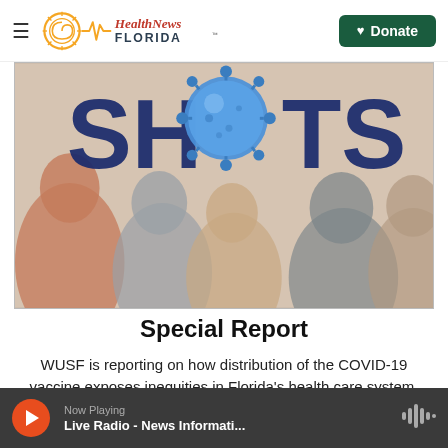Health News Florida — Donate
[Figure (illustration): A graphic showing the word SHOTS in large dark blue letters with a 3D COVID-19 virus ball replacing the letter O, set against a background of silhouetted diverse people in muted colors.]
Special Report
WUSF is reporting on how distribution of the COVID-19 vaccine exposes inequities in Florida's health care system.
Read More
Now Playing — Live Radio - News Informati...